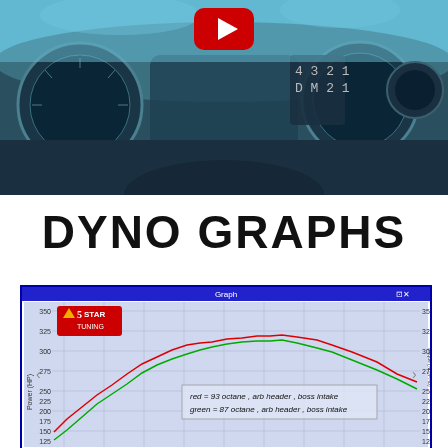[Figure (photo): Car dashboard showing gauges and instrument cluster with YouTube play button overlay]
DYNO GRAPHS
[Figure (line-chart): Dyno graph from 5 Star Tuning software showing power (HP) vs RPM curves for two tunes: red=93 octane and green=87 octane, both with arb header and boss intake. Y-axis ranges from 125 to 350.]